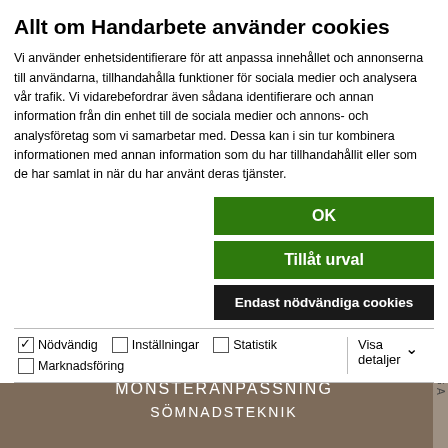Allt om Handarbete använder cookies
Vi använder enhetsidentifierare för att anpassa innehållet och annonserna till användarna, tillhandahålla funktioner för sociala medier och analysera vår trafik. Vi vidarebefordrar även sådana identifierare och annan information från din enhet till de sociala medier och annons- och analysföretag som vi samarbetar med. Dessa kan i sin tur kombinera informationen med annan information som du har tillhandahållit eller som de har samlat in när du har använt deras tjänster.
OK
Tillåt urval
Endast nödvändiga cookies
Nödvändig   Inställningar   Statistik   Marknadsföring   Visa detaljer
PRINT
TIPS & TRIX
MÖNSTERANPASSNING
SÖMNADSTEKNIK